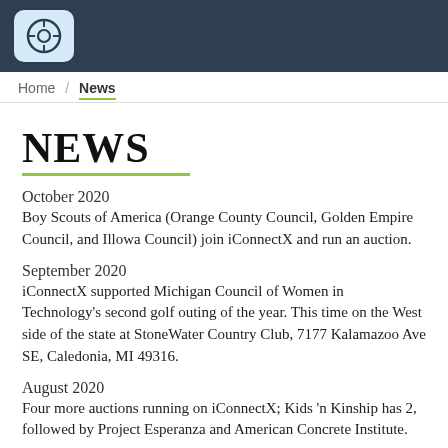iConnectX logo
Home / News
NEWS
October 2020
Boy Scouts of America (Orange County Council, Golden Empire Council, and Illowa Council) join iConnectX and run an auction.
September 2020
iConnectX supported Michigan Council of Women in Technology's second golf outing of the year. This time on the West side of the state at StoneWater Country Club, 7177 Kalamazoo Ave SE, Caledonia, MI 49316.
August 2020
Four more auctions running on iConnectX; Kids 'n Kinship has 2, followed by Project Esperanza and American Concrete Institute.